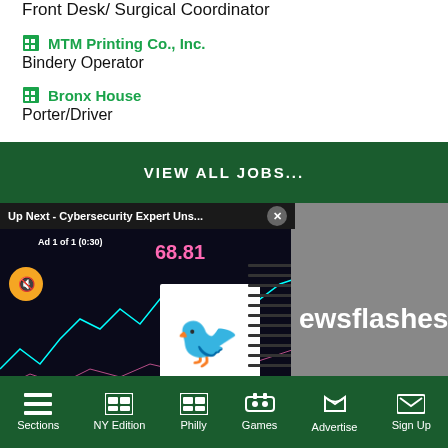Front Desk/ Surgical Coordinator
MTM Printing Co., Inc.
Bindery Operator
Bronx House
Porter/Driver
VIEW ALL JOBS...
[Figure (screenshot): Video ad overlay showing 'Up Next - Cybersecurity Expert Uns...' with stock chart and Twitter logo, ad label 'Ad 1 of 1 (0:30)', mute button, and close button]
ewsflashes
Sections  NY Edition  Philly  Games  Advertise  Sign Up